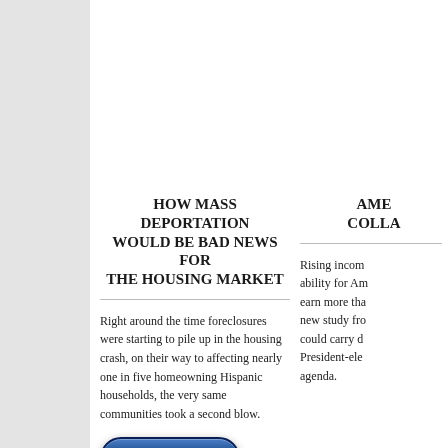HOW MASS DEPORTATION WOULD BE BAD NEWS FOR THE HOUSING MARKET
Right around the time foreclosures were starting to pile up in the housing crash, on their way to affecting nearly one in five homeowning Hispanic households, the very same communities took a second blow.
[Figure (other): A blue rounded button with white bold text reading 'Learn More!']
AME... COLLA...
Rising incom... ability for Am... earn more tha... new study fro... could carry d... President-ele... agenda.